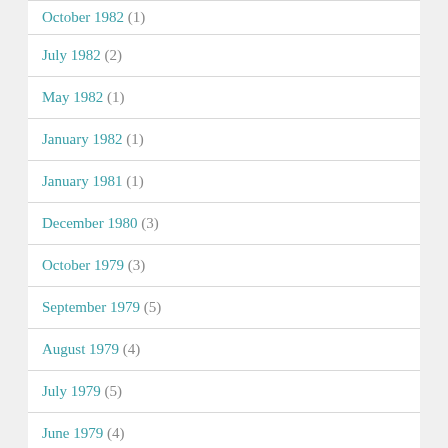October 1982 (1)
July 1982 (2)
May 1982 (1)
January 1982 (1)
January 1981 (1)
December 1980 (3)
October 1979 (3)
September 1979 (5)
August 1979 (4)
July 1979 (5)
June 1979 (4)